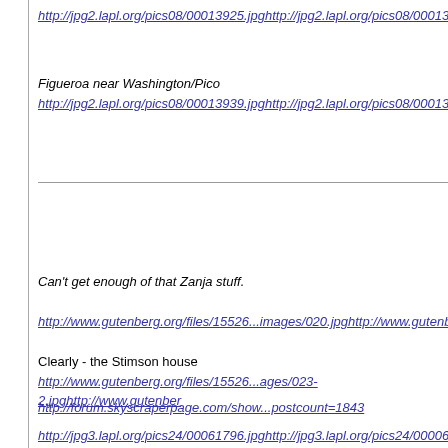http://jpg2.lapl.org/pics08/00013925.jpghttp://jpg2.lapl.org/pics08/00013925.
Figueroa near Washington/Pico
http://jpg2.lapl.org/pics08/00013939.jpghttp://jpg2.lapl.org/pics08/00013939.
Can't get enough of that Zanja stuff.
http://www.gutenberg.org/files/15526...images/020.jpghttp://www.gutenbe
Clearly - the Stimson house
http://www.gutenberg.org/files/15526...ages/023-2.jpghttp://www.gutenber
http://forum.skyscraperpage.com/show...postcount=1843
http://jpg3.lapl.org/pics24/00061796.jpghttp://jpg3.lapl.org/pics24/00006179.